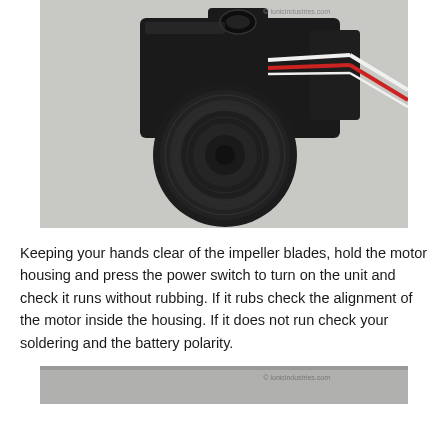[Figure (photo): A black motor housing/blower unit with red and white wires visible, photographed on a white surface. The unit shows a circular impeller housing at front and a rectangular connector port on top. Watermark reads ionicidustries.com.]
Keeping your hands clear of the impeller blades, hold the motor housing and press the power switch to turn on the unit and check it runs without rubbing. If it rubs check the alignment of the motor inside the housing. If it does not run check your soldering and the battery polarity.
[Figure (photo): Partial view of another photo at the bottom of the page, partially cropped. Watermark reads ionicindustries.com.]